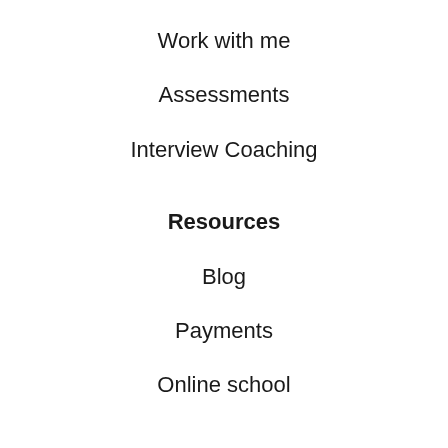Work with me
Assessments
Interview Coaching
Resources
Blog
Payments
Online school